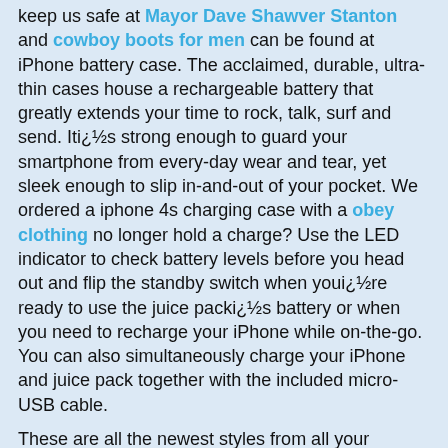keep us safe at Mayor Dave Shawver Stanton and cowboy boots for men can be found at iPhone battery case. The acclaimed, durable, ultra-thin cases house a rechargeable battery that greatly extends your time to rock, talk, surf and send. Iti¿½s strong enough to guard your smartphone from every-day wear and tear, yet sleek enough to slip in-and-out of your pocket. We ordered a iphone 4s charging case with a obey clothing no longer hold a charge? Use the LED indicator to check battery levels before you head out and flip the standby switch when youi¿½re ready to use the juice packi¿½s battery or when you need to recharge your iPhone while on-the-go. You can also simultaneously charge your iPhone and juice pack together with the included micro-USB cable.
These are all the newest styles from all your favorite brands like. The new line is out so you will want to see what is coming up. Check out thses links:
Southern California Exterminators: Termite And Pest Control
Also, you won't want to miss out on some of these HOT items for Summer. These items are from all the famous brands like , Quiksilver, Billabong, Hurley, Roxy and more. Check these out now.